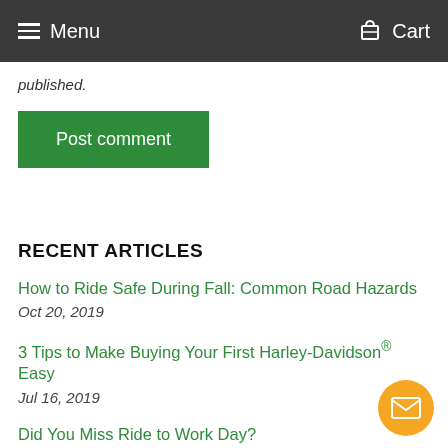Menu   Cart
published.
Post comment
RECENT ARTICLES
How to Ride Safe During Fall: Common Road Hazards
Oct 20, 2019
3 Tips to Make Buying Your First Harley-Davidson® Easy
Jul 16, 2019
Did You Miss Ride to Work Day?
Jun 18, 2019
From Smart Helmets to Connected Bikes: The IoT Transformation...